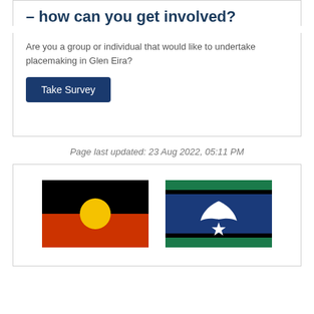– how can you get involved?
Are you a group or individual that would like to undertake placemaking in Glen Eira?
Take Survey
Page last updated: 23 Aug 2022, 05:11 PM
[Figure (illustration): Australian Aboriginal Flag: top half black, bottom half red, with a yellow circle in the centre]
[Figure (illustration): Torres Strait Islander Flag: green top and bottom bands, black horizontal stripes, blue centre with a white dhari (headdress) and white star]